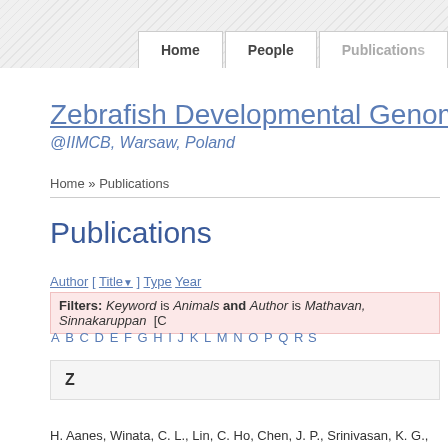Home | People | Publications
Zebrafish Developmental Genomics Lab @IIMCB, Warsaw, Poland
Home » Publications
Publications
Author [ Title ] Type Year
Filters: Keyword is Animals and Author is Mathavan, Sinnakaruppan [C
A B C D E F G H I J K L M N O P Q R S
Z
H. Aanes, Winata, C. L., Lin, C. Ho, Chen, J. P., Srinivasan, K. G., Lee, S...